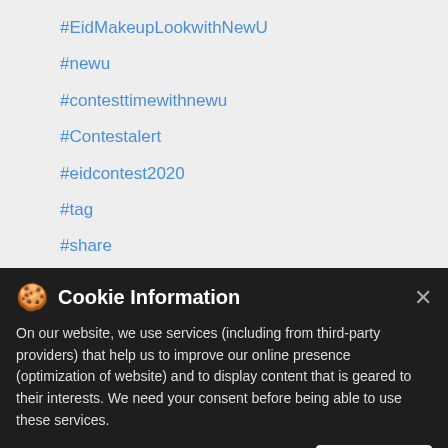#EidMakeupLookwithNewU
#newu
#contesttimewithnewu
#Contestalert
#eidcontest2020
#tag
#share
#comment
#follow
#participatenow
#Eidspecial
#contestdetailipes
#makeuplook
Cookie Information
On our website, we use services (including from third-party providers) that help us to improve our online presence (optimization of website) and to display content that is geared to their interests. We need your consent before being able to use these services.
Posted On: 21 May 2020 12:35 PM